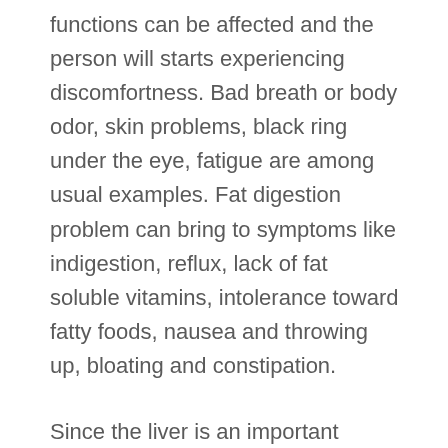functions can be affected and the person will starts experiencing discomfortness. Bad breath or body odor, skin problems, black ring under the eye, fatigue are among usual examples. Fat digestion problem can bring to symptoms like indigestion, reflux, lack of fat soluble vitamins, intolerance toward fatty foods, nausea and throwing up, bloating and constipation.
Since the liver is an important cleaner organ, it cannot escape from getting the effect of exposure to dangerous materials.
Milk Thistle and Liver Detoxification